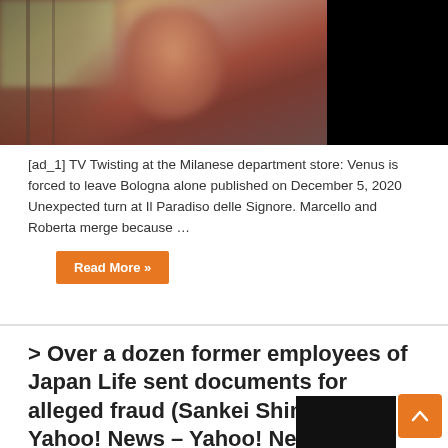[Figure (photo): Blurry photo of a woman with dark red/brown hair, partially dark background on the right side.]
[ad_1] TV Twisting at the Milanese department store: Venus is forced to leave Bologna alone published on December 5, 2020 Unexpected turn at Il Paradiso delle Signore. Marcello and Roberta merge because …
Read More »
> Over a dozen former employees of Japan Life sent documents for alleged fraud (Sankei Shimbun) – Yahoo! News – Yahoo! News
December 6, 2020  japan
[Figure (photo): Partial dark/black image at bottom right corner.]